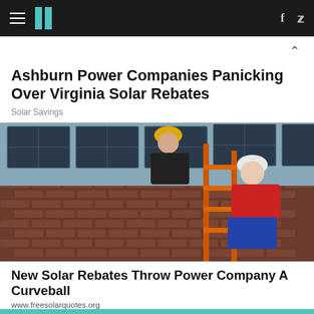HuffPost navigation bar with hamburger menu, logo, Facebook and Twitter icons
Ashburn Power Companies Panicking Over Virginia Solar Rebates
Solar Savings
[Figure (photo): Two workers in hard hats installing solar panels on a rooftop, standing on an orange ladder against a brick wall.]
New Solar Rebates Throw Power Company A Curveball
www.freesolarquotes.org